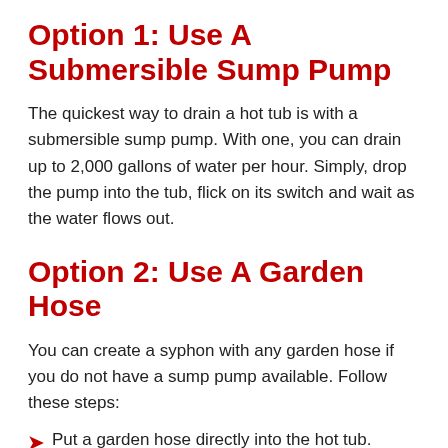Option 1: Use A Submersible Sump Pump
The quickest way to drain a hot tub is with a submersible sump pump. With one, you can drain up to 2,000 gallons of water per hour. Simply, drop the pump into the tub, flick on its switch and wait as the water flows out.
Option 2: Use A Garden Hose
You can create a syphon with any garden hose if you do not have a sump pump available. Follow these steps:
Put a garden hose directly into the hot tub.
Make sure that you connect the hose to a water supply to create a flow towards the tub.